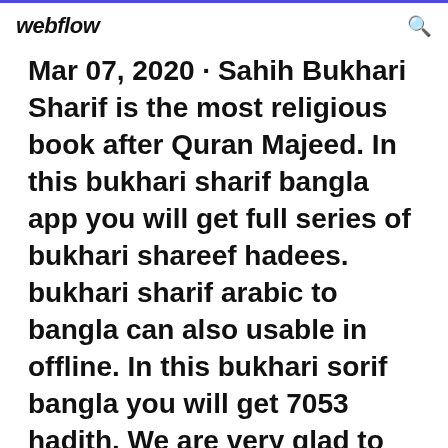webflow
Mar 07, 2020 · Sahih Bukhari Sharif is the most religious book after Quran Majeed. In this bukhari sharif bangla app you will get full series of bukhari shareef hadees. bukhari sharif arabic to bangla can also usable in offline. In this bukhari sorif bangla you will get 7053 hadith. We are very glad to released this app and grateful to allah subhantala.
7 Aug 2012 Watch Update All New Video By Sheikh Motiur Rahman Madani at Islamic...